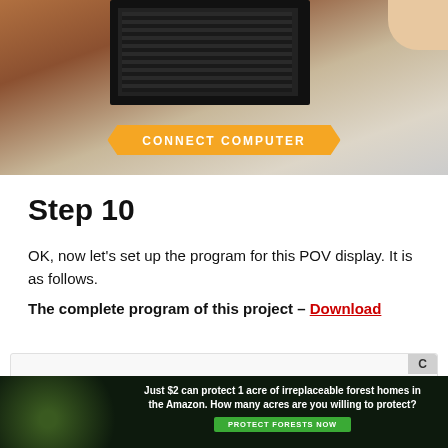[Figure (photo): Photo of an Arduino board connected with wires and a component on a surface, with text overlay banner reading CONNECT COMPUTER]
Step 10
OK, now let's set up the program for this POV display. It is as follows.
The complete program of this project – Download
[Figure (screenshot): Code block showing C code for POV display with Arduino nano. Line 1: /*POV display with Arduino nano. Line 2: created by the SriTu Hobby team. Line 3: Read the code below and use it for any of your creations]
[Figure (photo): Advertisement banner: Just $2 can protect 1 acre of irreplaceable forest homes in the Amazon. How many acres are you willing to protect? PROTECT FORESTS NOW]